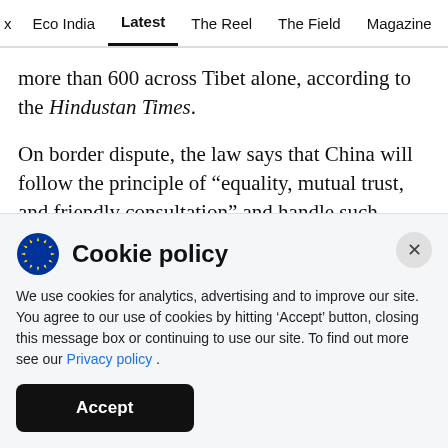x  Eco India  Latest  The Reel  The Field  Magazine  Video
more than 600 across Tibet alone, according to the Hindustan Times.
On border dispute, the law says that China will follow the principle of “equality, mutual trust, and friendly consultation” and handle such affairs with the neighbouring countries through negotiations.
Cookie policy
We use cookies for analytics, advertising and to improve our site. You agree to our use of cookies by hitting ‘Accept’ button, closing this message box or continuing to use our site. To find out more see our Privacy policy .
Accept